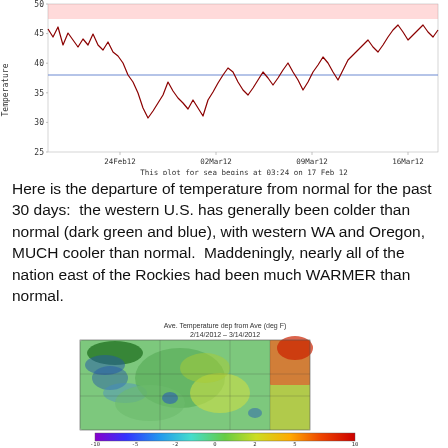[Figure (continuous-plot): Time series line chart of temperature (°F) from 17 Feb 2012 to ~16 Mar 2012, showing a jagged dark-red line fluctuating between ~28°F and ~50°F, with a horizontal blue reference line at ~38°F and a pink/red shaded region near the top. Y-axis: 25–50°F. X-axis dates: 24Feb12, 02Mar12, 09Mar12, 16Mar12. Caption below: 'This plot for sea begins at 03:24 on 17 Feb 12']
Here is the departure of temperature from normal for the past 30 days:  the western U.S. has generally been colder than normal (dark green and blue), with western WA and Oregon, MUCH cooler than normal.  Maddeningly, nearly all of the nation east of the Rockies had been much WARMER than normal.
[Figure (map): Color-filled map of the western United States showing average temperature departure from average (deg F) for 2/14/2012 – 3/14/2012. Colors range from blue/purple (much colder) in western WA and Oregon to green (near-normal to slightly below) over most of the west, with yellow-orange-red over the eastern portion of the map indicating warmer than normal. A color bar legend is shown at the bottom. Caption text at top: 'Ave. Temperature dep from Ave (deg F) 2/14/2012 – 3/14/2012'.]